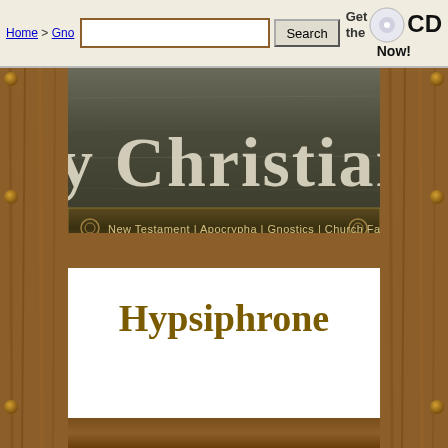Home > Gno... [search box] [Search button] Get the CD Now!
[Figure (illustration): Early Christian Writings website banner showing title 'y Christian Writin' in large serif text on a dark metallic/stone background, with navigation bar: New Testament | Apocrypha | Gnostics | Church Fathers | Other. The banner is framed by a wooden frame.]
Hypsiphrone